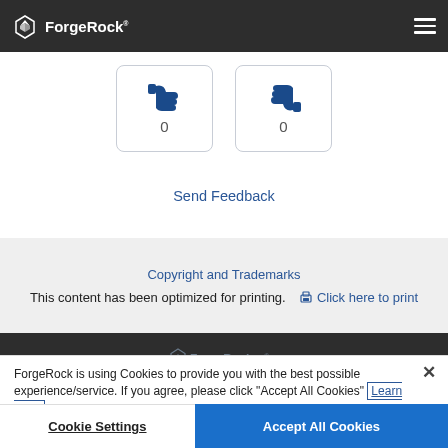ForgeRock
[Figure (screenshot): Two thumbs icon boxes each showing 0, part of a feedback widget]
Send Feedback
Copyright and Trademarks
This content has been optimized for printing.  Click here to print
[Figure (logo): ForgeRock logo in dark footer]
ForgeRock is using Cookies to provide you with the best possible experience/service. If you agree, please click "Accept All Cookies" Learn More
Cookie Settings
Accept All Cookies